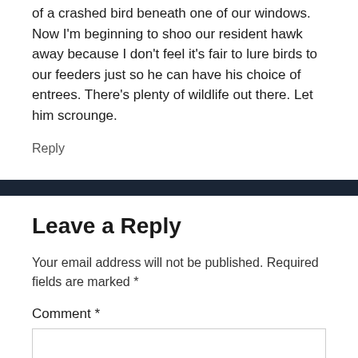of a crashed bird beneath one of our windows. Now I'm beginning to shoo our resident hawk away because I don't feel it's fair to lure birds to our feeders just so he can have his choice of entrees. There's plenty of wildlife out there. Let him scrounge.
Reply
Leave a Reply
Your email address will not be published. Required fields are marked *
Comment *